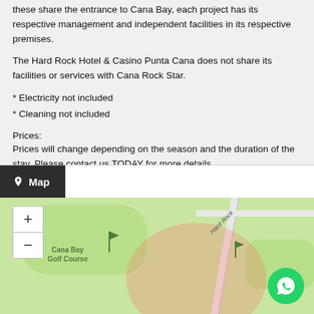these share the entrance to Cana Bay, each project has its respective management and independent facilities in its respective premises.
The Hard Rock Hotel & Casino Punta Cana does not share its facilities or services with Cana Rock Star.
* Electricity not included
* Cleaning not included
Prices:
Prices will change depending on the season and the duration of the stay. Please contact us TODAY for more details.
[Figure (map): Map section showing Cana Bay Golf Course area with a pink/red circular overlay indicating location. Zoom controls (+/-) visible on left. WhatsApp button on bottom right. A road labeled 'Hard Rock' runs diagonally.]